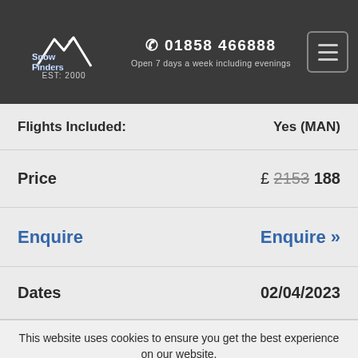Snow Finders EST: 2000 | 01858 466888 | Open 7 days a week including evenings
| Field | Value |
| --- | --- |
| Flights Included: | Yes (MAN) |
| Price | £ 2153 188 |
| Enquire | Enquire » |
| Dates | 02/04/2023 |
This website uses cookies to ensure you get the best experience on our website. Accept | Read More